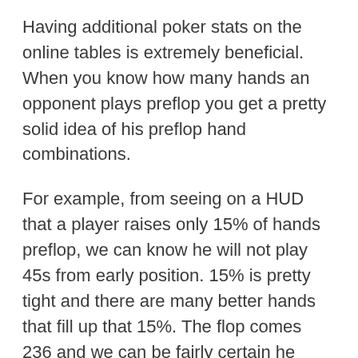Having additional poker stats on the online tables is extremely beneficial. When you know how many hands an opponent plays preflop you get a pretty solid idea of his preflop hand combinations.
For example, from seeing on a HUD that a player raises only 15% of hands preflop, we can know he will not play 45s from early position. 15% is pretty tight and there are many better hands that fill up that 15%. The flop comes 236 and we can be fairly certain he doesn't have a straight